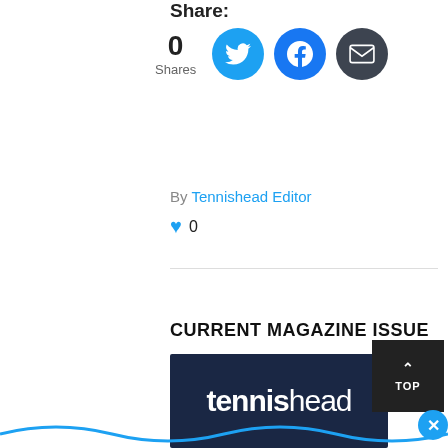Share:
[Figure (infographic): Share section showing 0 shares count and three social media icon buttons: Twitter (blue bird), Facebook (blue f), and Email (dark envelope)]
By Tennishead Editor
♥ 0
CURRENT MAGAZINE ISSUE
[Figure (photo): Tennishead magazine cover showing dark navy background with large white 'tennishead' logo text and a wavy blue decorative element at the bottom. A 'TOP' navigation button and close button (X) are partially visible.]